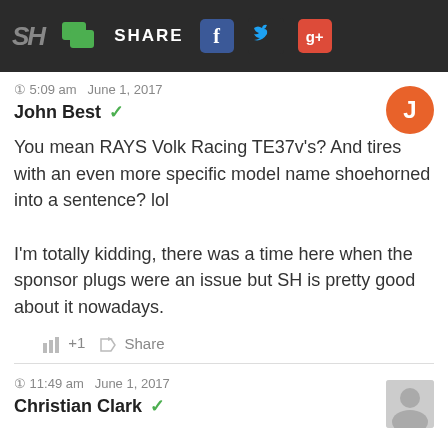SH SHARE
5:09 am  June 1, 2017
John Best ✓
You mean RAYS Volk Racing TE37v's? And tires with an even more specific model name shoehorned into a sentence? lol

I'm totally kidding, there was a time here when the sponsor plugs were an issue but SH is pretty good about it nowadays.
+1  Share
11:49 am  June 1, 2017
Christian Clark ✓